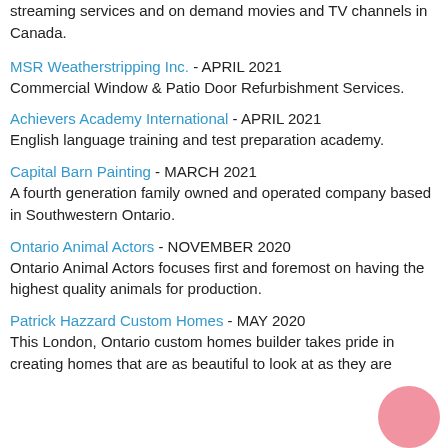streaming services and on demand movies and TV channels in Canada.
MSR Weatherstripping Inc. - APRIL 2021
Commercial Window & Patio Door Refurbishment Services.
Achievers Academy International - APRIL 2021
English language training and test preparation academy.
Capital Barn Painting - MARCH 2021
A fourth generation family owned and operated company based in Southwestern Ontario.
Ontario Animal Actors - NOVEMBER 2020
Ontario Animal Actors focuses first and foremost on having the highest quality animals for production.
Patrick Hazzard Custom Homes - MAY 2020
This London, Ontario custom homes builder takes pride in creating homes that are as beautiful to look at as they are